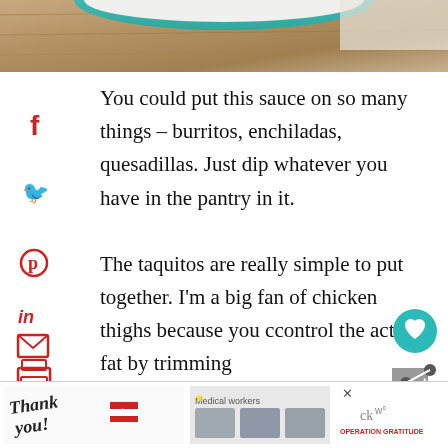[Figure (photo): Top portion of a food photo showing a bowl or plate with teal/green rim on a wooden surface]
You could put this sauce on so many things – burritos, enchiladas, quesadillas. Just dip whatever you have in the pantry in it.

The taquitos are really simple to put together. I'm a big fan of chicken thighs because you c[an] control the actual fat by trimming
[Figure (infographic): Social media share sidebar with Facebook, Twitter, Pinterest, LinkedIn, email, and print icons in red]
[Figure (infographic): WHAT'S NEXT box with Tomatillo Sauce label and food photo thumbnail]
[Figure (infographic): Operation Gratitude advertisement banner with Thank You illustration and medical workers photo]